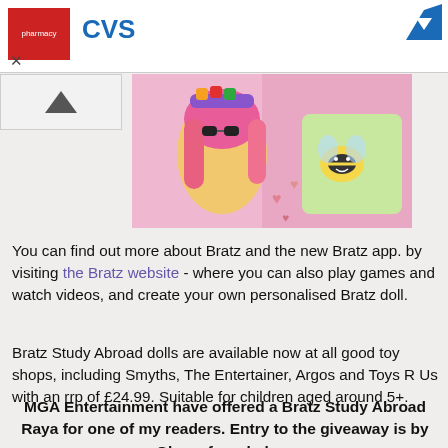[Figure (photo): Advertisement banner showing CVS pharmacy logo in red box with blue CVS text and a blue arrow icon on the right, with a caret and X close button]
[Figure (photo): Close-up photo of a Bratz doll with colorful pink hair, sunglasses, and bright clothing in a toy package]
You can find out more about Bratz and the new Bratz app. by visiting the Bratz website - where you can also play games and watch videos, and create your own personalised Bratz doll.
Bratz Study Abroad dolls are available now at all good toy shops, including Smyths, The Entertainer, Argos and Toys R Us with an rrp of £24.99. Suitable for children aged around 5+.
MGA Entertainment have offered a Bratz Study Abroad Raya for one of my readers. Entry to the giveaway is by Gleam form below.